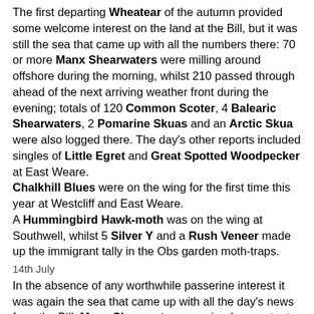The first departing Wheatear of the autumn provided some welcome interest on the land at the Bill, but it was still the sea that came up with all the numbers there: 70 or more Manx Shearwaters were milling around offshore during the morning, whilst 210 passed through ahead of the next arriving weather front during the evening; totals of 120 Common Scoter, 4 Balearic Shearwaters, 2 Pomarine Skuas and an Arctic Skua were also logged there. The day's other reports included singles of Little Egret and Great Spotted Woodpecker at East Weare.
Chalkhill Blues were on the wing for the first time this year at Westcliff and East Weare.
A Hummingbird Hawk-moth was on the wing at Southwell, whilst 5 Silver Y and a Rush Veneer made up the immigrant tally in the Obs garden moth-traps.
14th July
In the absence of any worthwhile passerine interest it was again the sea that came up with all the day's news from the Bill: Manx Shearwaters remained a constant presence offshore, with more than 150 lingering/passing through during the morning, when 45 Common Scoter, 3 Balearic Shearwaters and 2 Arctic Skuas also passing by; the local